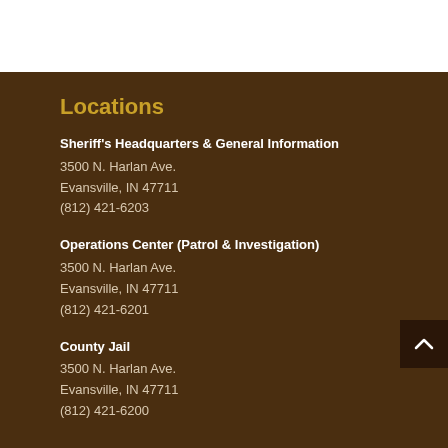Locations
Sheriff's Headquarters & General Information
3500 N. Harlan Ave.
Evansville, IN 47711
(812) 421-6203
Operations Center (Patrol & Investigation)
3500 N. Harlan Ave.
Evansville, IN 47711
(812) 421-6201
County Jail
3500 N. Harlan Ave.
Evansville, IN 47711
(812) 421-6200